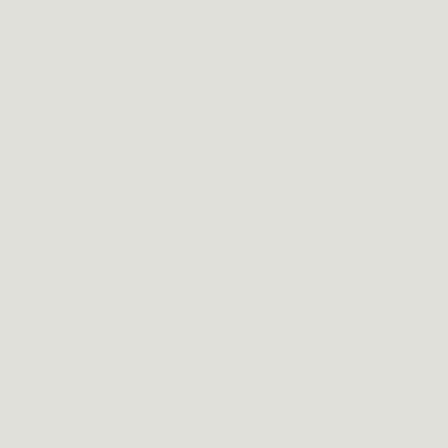https://github.com/libkml/libkml Maintainer: Debian GIS Project (Bas Couwenberg)
This is a library for use with applications that want to parse, generate and operate on KML, a geo-data XML variant... of the OGC KML 2.2 standard. It is written in C++ and bindings are available via SWIG to Java and Python. This package contains required extensions...
Python-netcdf4
Python interface to the netCDF4 (network Common Data Form) library
http://unidata.github.io/netcdf4-python/
Maintainer: Debian GIS Project (Bas Couwenberg)
NetCDF version 4 has many features not found in earlier versions of the library and is implemented on top of HDF5. This package can read and write files in both the new netCDF 4 and old netCDF 3 format, and can create files that are readable by HDF5 clients. The API is modelled after Scientific.IO.NetCDF, and should be familiar to users of that module. Most new features of netCDF 4 are implemented, such as multiple unlimited dimensions, groups and zlib data compression. All the new numeric data types (such as 64 bit and unsigned integer types) are implemented. Compound and variable-length (vlen) data types are supported, but the enum and opaque data types are not. Compound and vlen data types (compound types containing vlens and vlens containing compound types)...